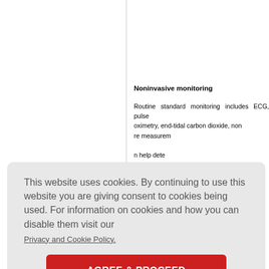Noninvasive monitoring
Routine standard monitoring includes ECG, pulse oximetry, end-tidal carbon dioxide, non... re measurement... n help dete... instabilit... ood gas sa... on. Intra... a pulmonar... in all patie... rate PAH v... ure. Monitor... urement of... n right ve... performance, and guidance for fluid mana...
This website uses cookies. By continuing to use this website you are giving consent to cookies being used. For information on cookies and how you can disable them visit our
Privacy and Cookie Policy.
AGREE & PROCEED